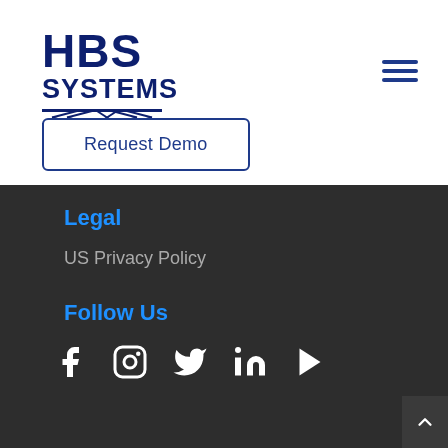[Figure (logo): HBS Systems logo with bold navy text 'HBS SYSTEMS' and horizontal line design beneath]
[Figure (other): Hamburger menu icon with three horizontal navy lines]
Request Demo
Legal
US Privacy Policy
Follow Us
[Figure (other): Social media icons: Facebook, Instagram, Twitter, LinkedIn, YouTube]